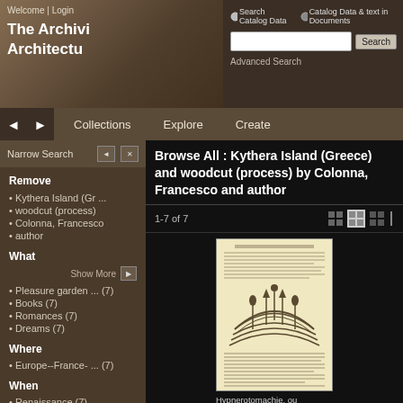Welcome | Login
The Archivi
Architectu
Search Catalog Data   Catalog Data & text in Documents
[Search input] Search
Advanced Search
Collections   Explore   Create
Narrow Search
Remove
Kythera Island (Gr ...
woodcut (process)
Colonna, Francesco
author
What
Show More
Pleasure garden ... (7)
Books (7)
Romances (7)
Dreams (7)
Where
Europe--France- ... (7)
When
Renaissance (7)
1561 (7)
Browse All : Kythera Island (Greece) and woodcut (process) by Colonna, Francesco and author
1-7 of 7
[Figure (illustration): Thumbnail of an old book page with woodcut illustration and text, titled Hypnerotomachie]
Hypnerotomachie, ou Discours ...
Colonna, Francesco